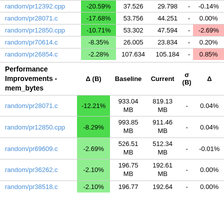|  | Δ (B) | Baseline | Current | σ (B) | Δ |
| --- | --- | --- | --- | --- | --- |
| random/pr12392.cpp | -20.59% | 37.526 | 29.798 | - | -0.14% |
| random/pr28071.c | -17.68% | 53.756 | 44.251 | - | 0.00% |
| random/pr12850.cpp | -10.71% | 53.302 | 47.594 | - | -2.69% |
| random/pr70614.c | -8.35% | 26.005 | 23.834 | - | 0.20% |
| random/pr26854.c | -2.28% | 107.634 | 105.184 | - | 0.85% |
| Performance Improvements - mem_bytes | Δ (B) | Baseline | Current | σ (B) | Δ |
| --- | --- | --- | --- | --- | --- |
| random/pr28071.c | -12.21% | 933.04 MB | 819.13 MB | - | 0.04% |
| random/pr12850.cpp | -8.29% | 993.85 MB | 911.46 MB | - | 0.04% |
| random/pr69609.c | -2.69% | 526.51 MB | 512.34 MB | - | -0.01% |
| random/pr36262.c | -2.10% | 196.75 MB | 192.61 MB | - | 0.00% |
| random/pr38518.c | -2.10% | 196.77 | 192.64 | - | 0.00% |